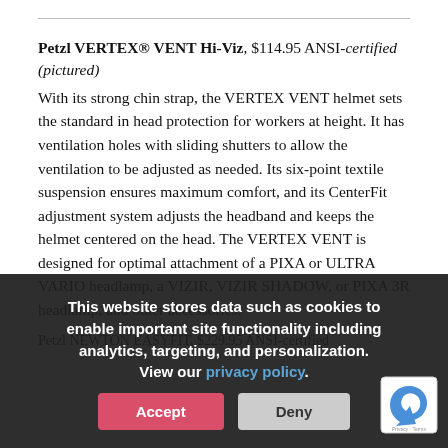Petzl VERTEX® VENT Hi-Viz, $114.95 ANSI-certified (pictured)
With its strong chin strap, the VERTEX VENT helmet sets the standard in head protection for workers at height. It has ventilation holes with sliding shutters to allow the ventilation to be adjusted as needed. Its six-point textile suspension ensures maximum comfort, and its CenterFit adjustment system adjusts the headband and keeps the helmet centered on the head. The VERTEX VENT is designed for optimal attachment of a PIXA or ULTRA VARIO headlamp, a VIZIR, VIZIR SHADOW, or PIXA 3R headlamp, and other accessories.
This website stores data such as cookies to enable important site functionality including analytics, targeting, and personalization. View our privacy policy.
Petzl NEWTON EASYFIT, $229.95 ANSI-certified